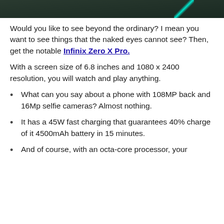[Figure (photo): Partial photo of Infinix Zero X Pro smartphone on a wooden surface, showing teal/green accent on the corner]
Would you like to see beyond the ordinary? I mean you want to see things that the naked eyes cannot see? Then, get the notable Infinix Zero X Pro.
With a screen size of 6.8 inches and 1080 x 2400 resolution, you will watch and play anything.
What can you say about a phone with 108MP back and 16Mp selfie cameras? Almost nothing.
It has a 45W fast charging that guarantees 40% charge of it 4500mAh battery in 15 minutes.
And of course, with an octa-core processor, your